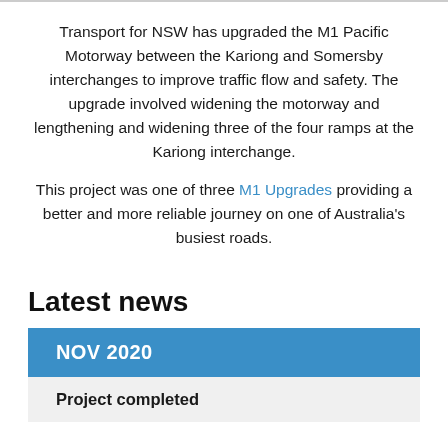Transport for NSW has upgraded the M1 Pacific Motorway between the Kariong and Somersby interchanges to improve traffic flow and safety. The upgrade involved widening the motorway and lengthening and widening three of the four ramps at the Kariong interchange.
This project was one of three M1 Upgrades providing a better and more reliable journey on one of Australia's busiest roads.
Latest news
NOV 2020
Project completed